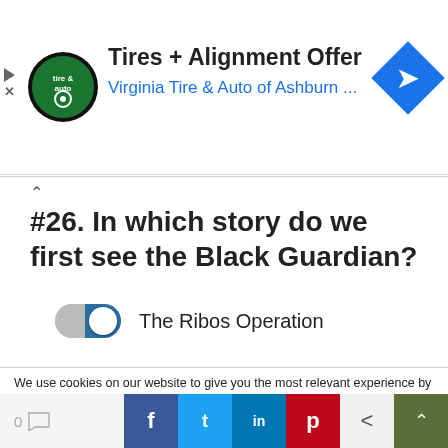[Figure (screenshot): Advertisement banner: Virginia Tire & Auto logo, 'Tires + Alignment Offer', 'Virginia Tire & Auto of Ashburn ...' with blue diamond navigation icon on the right]
#26. In which story do we first see the Black Guardian?
The Ribos Operation (toggle switch selected)
We use cookies on our website to give you the most relevant experience by remembering your preferences and repeat visits. By clicking “Accept”, you consent to the use of ALL the cookies.
Do not sell my personal information.
[Figure (screenshot): Bottom toolbar with comment count (0), social share buttons (Facebook, Twitter, LinkedIn, Pinterest), back arrow, and scroll-to-top button]